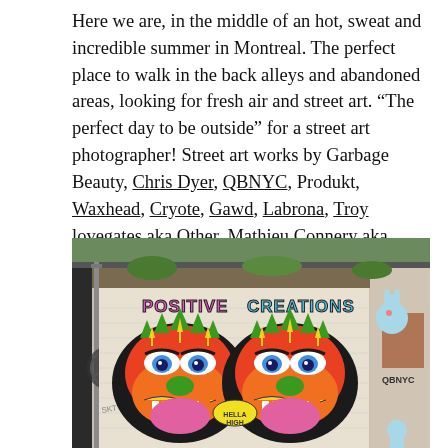Here we are, in the middle of an hot, sweat and incredible summer in Montreal. The perfect place to walk in the back alleys and abandoned areas, looking for fresh air and street art. "The perfect day to be outside" for a street art photographer! Street art works by Garbage Beauty, Chris Dyer, QBNYC, Produkt, Waxhead, Cryote, Gawd, Labrona, Troy lovegates aka Other, Mathieu Connery aka 500M, Lilyluciole, Mathieu Bories, WIA.
[Figure (photo): Street art mural on a brick wall in a back alley in Montreal. The mural shows two colorful monster/demon faces side by side with the text 'POSITIVE CREATIONS' at the top in graffiti lettering. The creatures have vibrant colors — red, green, orange, yellow, blue, pink — with arrows pointing upward, large eyes, and exaggerated mouths. Text 'HELLA HIGH' appears in the center. On the right side of the wall are cartoon character murals including a bunny figure and smaller characters. The text 'QBNYC' is visible on the right portion of the wall. The scene is in an urban back alley environment.]